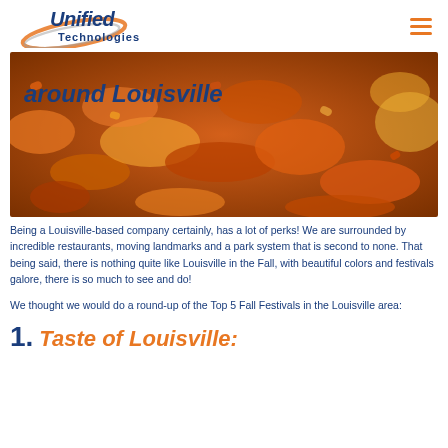Unified Technologies
[Figure (photo): Autumn leaves covering the ground in shades of orange, yellow and red, with bold italic text overlay reading 'around Louisville' in dark blue]
Being a Louisville-based company certainly, has a lot of perks! We are surrounded by incredible restaurants, moving landmarks and a park system that is second to none. That being said, there is nothing quite like Louisville in the Fall, with beautiful colors and festivals galore, there is so much to see and do!
We thought we would do a round-up of the Top 5 Fall Festivals in the Louisville area:
1. Taste of Louisville: